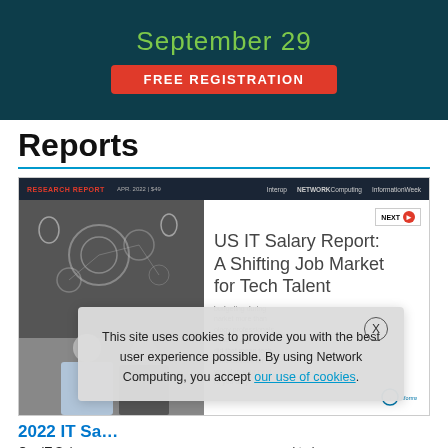[Figure (infographic): Dark teal advertisement banner showing 'September 29' in green text and a red 'FREE REGISTRATION' button]
Reports
[Figure (screenshot): Screenshot of a webpage showing the 'US IT Salary Report: A Shifting Job Market for Tech Talent' research report card with header bar, photo of professionals, report title, and body text, overlaid with a cookie consent popup]
This site uses cookies to provide you with the best user experience possible. By using Network Computing, you accept our use of cookies.
2022 IT Sa...
Our IT Salary ... l to know as you plan now... ... right...